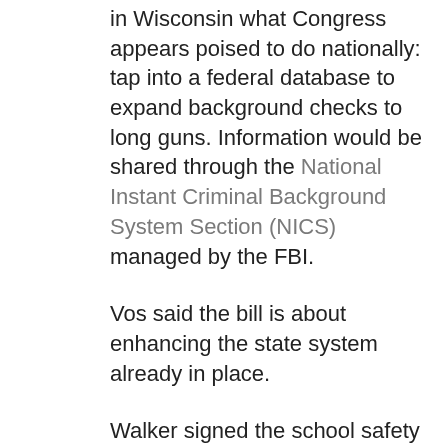in Wisconsin what Congress appears poised to do nationally: tap into a federal database to expand background checks to long guns. Information would be shared through the National Instant Criminal Background System Section (NICS) managed by the FBI.
Vos said the bill is about enhancing the state system already in place.
Walker signed the school safety bill; the Assembly's expanded background check bill would need the Senate's blessing to move to the governor's desk. That isn't likely.
BEATING BACK BAD BILLS